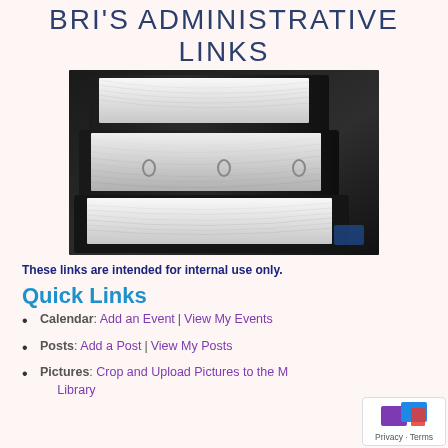BRI'S ADMINISTRATIVE LINKS
[Figure (photo): Stack of binders filled with papers, photographed from a low angle in dark moody lighting]
These links are intended for internal use only.
Quick Links
Calendar: Add an Event | View My Events
Posts: Add a Post | View My Posts
Pictures: Crop and Upload Pictures to the Media Library